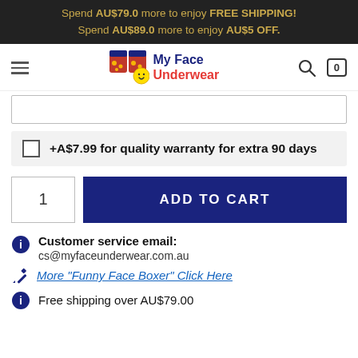Spend AU$79.0 more to enjoy FREE SHIPPING! Spend AU$89.0 more to enjoy AU$5 OFF.
[Figure (logo): My Face Underwear logo with hamburger menu, search icon, and cart (0) icon]
+A$7.99 for quality warranty for extra 90 days
1  ADD TO CART
Customer service email: cs@myfaceunderwear.com.au
More "Funny Face Boxer" Click Here
Free shipping over AU$79.00